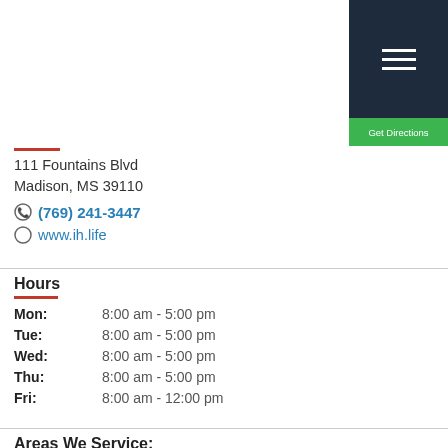111 Fountains Blvd
Madison, MS 39110
(769) 241-3447
www.ih.life
Hours
Mon: 8:00 am - 5:00 pm
Tue: 8:00 am - 5:00 pm
Wed: 8:00 am - 5:00 pm
Thu: 8:00 am - 5:00 pm
Fri: 8:00 am - 12:00 pm
Areas We Service:
Jackson, MS,  Crystal Springs, MS,  Hattiesburg, MS,  Bolton, MS,  Byram, MS,  Clinton, MS,  Raymond, MS,  Terry, MS,  Greenwood, MS,  Brookhaven, MS,  Ridgeland, MS,  Brandon, MS,  Florence, MS,  Flowood, MS,  Pearl,